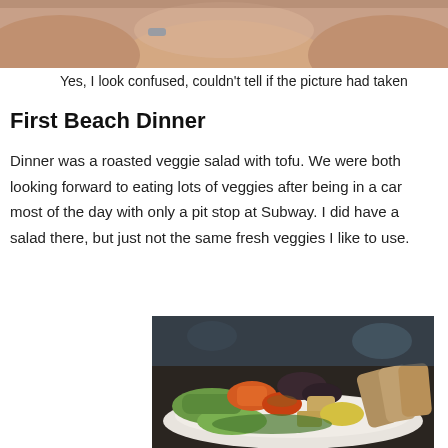[Figure (photo): Top portion of a person's chest/neck area, cropped selfie]
Yes, I look confused, couldn't tell if the picture had taken
First Beach Dinner
Dinner was a roasted veggie salad with tofu. We were both looking forward to eating lots of veggies after being in a car most of the day with only a pit stop at Subway. I did have a salad there, but just not the same fresh veggies I like to use.
[Figure (photo): A plate of roasted vegetables and tofu on a white plate, close-up food photo with blurred background]